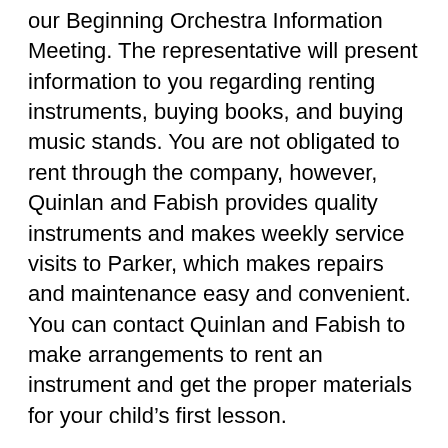our Beginning Orchestra Information Meeting. The representative will present information to you regarding renting instruments, buying books, and buying music stands. You are not obligated to rent through the company, however, Quinlan and Fabish provides quality instruments and makes weekly service visits to Parker, which makes repairs and maintenance easy and convenient. You can contact Quinlan and Fabish to make arrangements to rent an instrument and get the proper materials for your child's first lesson.
Essential Elements Violin Book 1 is the book that will be used this year in Orchestra. You can purchase any music stand that you'd like.
Instrument Sizes vary from student to student. To determine the violin size that your child will